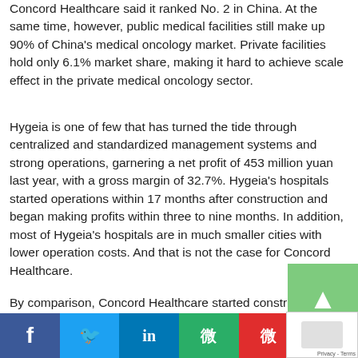Concord Healthcare said it ranked No. 2 in China. At the same time, however, public medical facilities still make up 90% of China's medical oncology market. Private facilities hold only 6.1% market share, making it hard to achieve scale effect in the private medical oncology sector.
Hygeia is one of few that has turned the tide through centralized and standardized management systems and strong operations, garnering a net profit of 453 million yuan last year, with a gross margin of 32.7%. Hygeia's hospitals started operations within 17 months after construction and began making profits within three to nine months. In addition, most of Hygeia's hospitals are in much smaller cities with lower operation costs. And that is not the case for Concord Healthcare.
By comparison, Concord Healthcare started construction on its hospital in Shanghai in 2017 and the facility will not … al … 2… g tier-1 cities like Sha… and Guangzhou, where most new players in the private